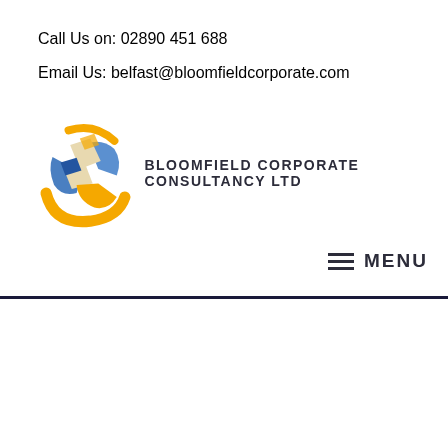Call Us on: 02890 451 688
Email Us: belfast@bloomfieldcorporate.com
[Figure (logo): Bloomfield Corporate Consultancy Ltd logo - a globe/sphere made of blue, orange, and beige cross/X shapes with an orange arc swoosh, beside the company name BLOOMFIELD CORPORATE CONSULTANCY LTD]
≡  MENU